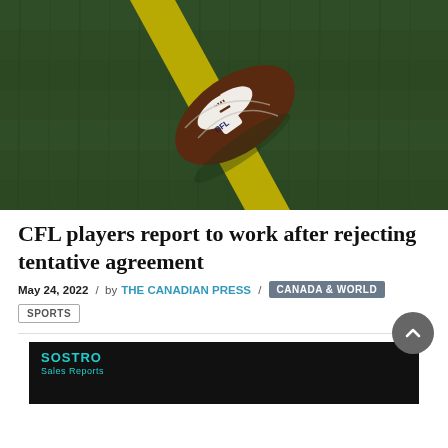[Figure (photo): Aerial view of a Wilson CFL football resting on green turf with a yellow yard line stripe running diagonally]
CFL players report to work after rejecting tentative agreement
May 24, 2022 / by THE CANADIAN PRESS / CANADA & WORLD
SPORTS
[Figure (screenshot): Dark advertisement banner with SOSTRO logo in teal]